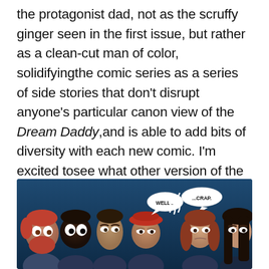the protagonist dad, not as the scruffy ginger seen in the first issue, but rather as a clean-cut man of color, solidifyingthe comic series as a series of side stories that don't disrupt anyone's particular canon view of the Dream Daddy,and is able to add bits of diversity with each new comic. I'm excited tosee what other version of the protagonist appear in future issues, and hope there's no repeating.
[Figure (illustration): Comic panel showing five characters standing together with speech bubbles. A red-bearded character on the left, a dark-skinned character next to them, then a man in the center, a character in a red beret with speech bubble 'WELL...', smoke/steam rising, another speech bubble saying '...CRAP.', a woman with auburn hair, and a man with long dark hair on the right. Dark blue background.]